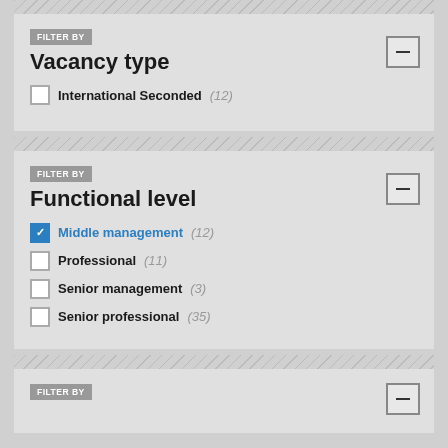FILTER BY
Vacancy type
International Seconded (12)
FILTER BY
Functional level
Middle management (12) [checked]
Professional (11)
Senior management (3)
Senior professional (35)
FILTER BY